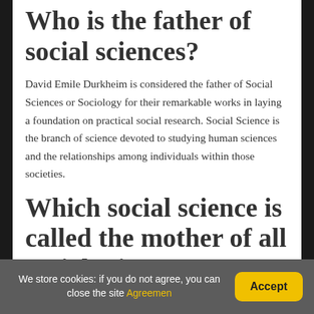Who is the father of social sciences?
David Emile Durkheim is considered the father of Social Sciences or Sociology for their remarkable works in laying a foundation on practical social research. Social Science is the branch of science devoted to studying human sciences and the relationships among individuals within those societies.
Which social science is called the mother of all social sciences?
We store cookies: if you do not agree, you can close the site Agreemen